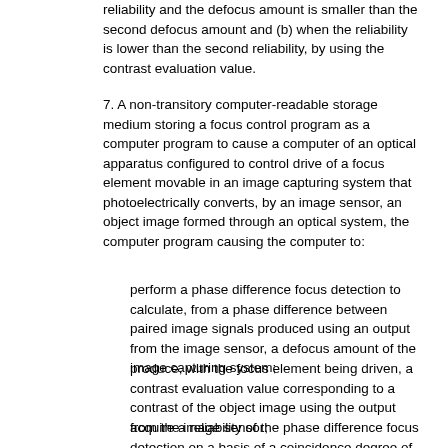reliability and the defocus amount is smaller than the second defocus amount and (b) when the reliability is lower than the second reliability, by using the contrast evaluation value.
7. A non-transitory computer-readable storage medium storing a focus control program as a computer program to cause a computer of an optical apparatus configured to control drive of a focus element movable in an image capturing system that photoelectrically converts, by an image sensor, an object image formed through an optical system, the computer program causing the computer to:
perform a phase difference focus detection to calculate, from a phase difference between paired image signals produced using an output from the image sensor, a defocus amount of the image capturing system;
produce, with the focus element being driven, a contrast evaluation value corresponding to a contrast of the object image using the output from the image sensor;
acquire a reliability of the phase difference focus detection on a basis of a coincidence degree of the paired image signals and a contrast of the paired image signals; and